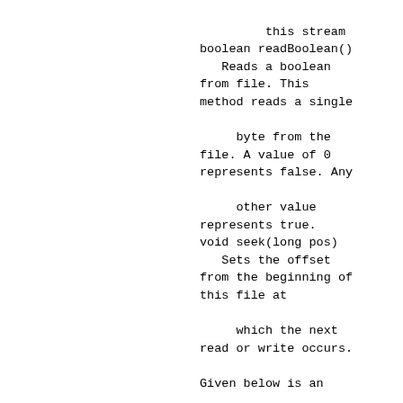this stream
boolean readBoolean()
   Reads a boolean
from file. This
method reads a single

     byte from the
file. A value of 0
represents false. Any

     other value
represents true.
void seek(long pos)
   Sets the offset
from the beginning of
this file at

     which the next
read or write occurs.

Given below is an
example which...